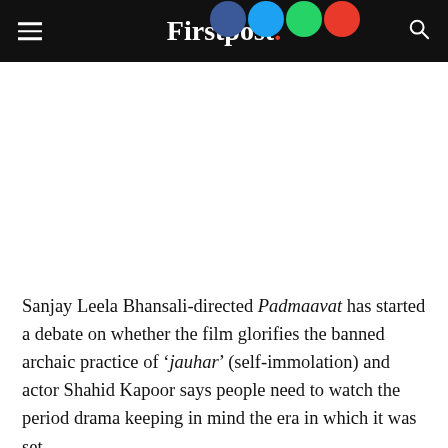Firstpost.
[Figure (photo): Large white/blank image area below the navigation header, likely a video or photo placeholder]
Sanjay Leela Bhansali-directed Padmaavat has started a debate on whether the film glorifies the banned archaic practice of 'jauhar' (self-immolation) and actor Shahid Kapoor says people need to watch the period drama keeping in mind the era in which it was set.
Since its release last week, the magnum opus has evoked